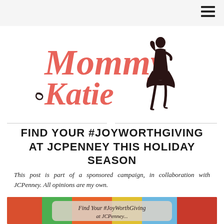Navigation bar with hamburger menu
[Figure (logo): Mommy Katie blog logo — stylized coral/pink italic text 'Mommy Katie' with a dark silhouette of a woman in a dress]
FIND YOUR #JOYWORTHGIVING AT JCPENNEY THIS HOLIDAY SEASON
This post is part of a sponsored campaign, in collaboration with JCPenney. All opinions are my own.
[Figure (photo): Colorful holiday gift photo with text overlay reading 'Find Your #JoyWorthGiving at JCPenney...']